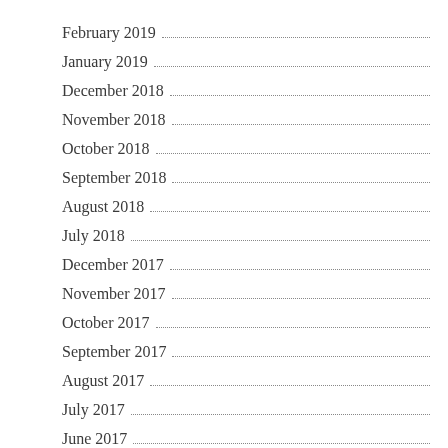February 2019
January 2019
December 2018
November 2018
October 2018
September 2018
August 2018
July 2018
December 2017
November 2017
October 2017
September 2017
August 2017
July 2017
June 2017